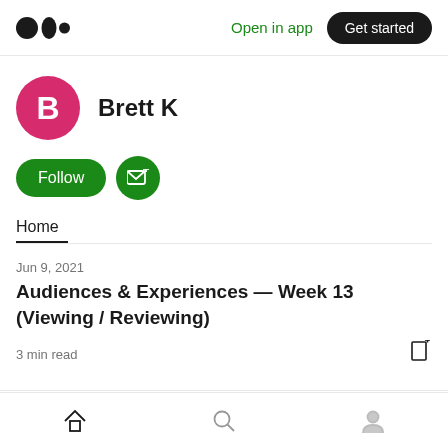Medium logo | Open in app | Get started
Brett K
[Figure (other): Follow button (green pill) and subscribe email button (green circle with envelope+)]
Home
Jun 9, 2021
Audiences & Experiences — Week 13 (Viewing / Reviewing)
3 min read
Home | Search | Profile navigation icons